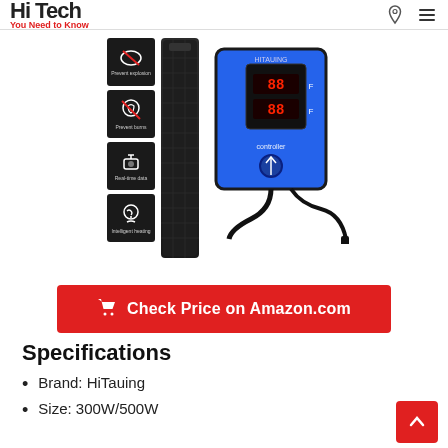Hi Tech / You Need to Know
[Figure (photo): Product image of HiTauing aquarium heater with controller unit and feature icons (Prevent explosion, Prevent burns, Real-time data, Intelligent heating)]
Check Price on Amazon.com
Specifications
Brand: HiTauing
Size: 300W/500W